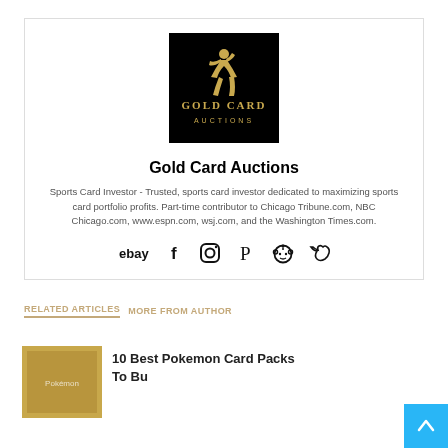[Figure (logo): Gold Card Auctions logo — black background with gold athletic figure and text 'GOLD CARD AUCTIONS']
Gold Card Auctions
Sports Card Investor - Trusted, sports card investor dedicated to maximizing sports card portfolio profits. Part-time contributor to Chicago Tribune.com, NBC Chicago.com, www.espn.com, wsj.com, and the Washington Times.com.
[Figure (infographic): Social media icons row: eBay, Facebook, Instagram, Pinterest, Reddit, Twitter]
RELATED ARTICLES   MORE FROM AUTHOR
10 Best Pokemon Card Packs To Bu…